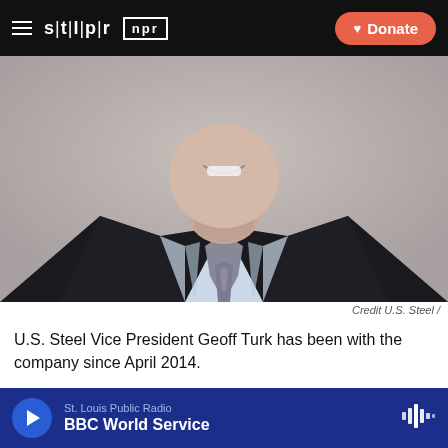STLPR  NPR  Donate
[Figure (photo): Close-up professional headshot photo of a man in a dark suit with light blue shirt and grey patterned tie, smiling, viewed from chin/neck area up]
Credit U.S. Steel  /
U.S. Steel Vice President Geoff Turk has been with the company since April 2014.
St. Louis Public Radio  BBC World Service